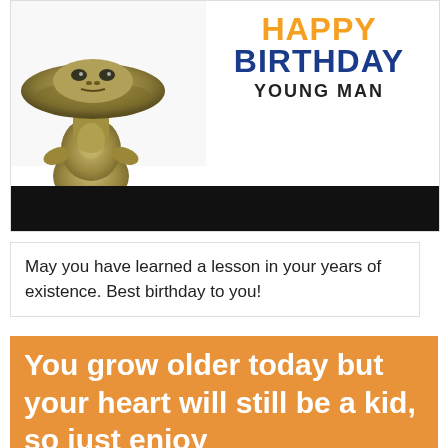[Figure (illustration): Birthday card image showing a 3D rendered alien/frog-like creature on the left side with olive-green skin and a mushroom-shaped head, standing upright. On the right side, text reads 'HAPPY BIRTHDAY YOUNG MAN' in bold orange and dark blue lettering. A black bar runs across the bottom of the card.]
May you have learned a lesson in your years of existence. Best birthday to you!
You grow older today but your heart will still be a kid, so just enjoy